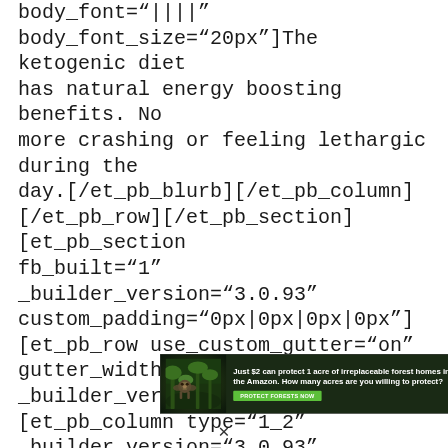body_font="||||" body_font_size="20px"]The ketogenic diet has natural energy boosting benefits. No more crashing or feeling lethargic during the day.[/et_pb_blurb][/et_pb_column][/et_pb_row][/et_pb_section][et_pb_section fb_built="1" _builder_version="3.0.93" custom_padding="0px|0px|0px|0px"][et_pb_row use_custom_gutter="on" gutter_width="2" _builder_version="3.0.93"][et_pb_column type="1_2" _builder_version="3.0.93" parallax="off" parallax_method="on"][et_pb_blurb title="Fix Metabolic Syndrome"
[Figure (infographic): Advertisement banner with forest/Amazon theme. Text reads: 'Just $2 can protect 1 acre of irreplaceable forest homes in the Amazon. How many acres are you willing to protect?' with a green button 'PROTECT FORESTS NOW'. Left side shows an image of a primate in lush green forest.]
×